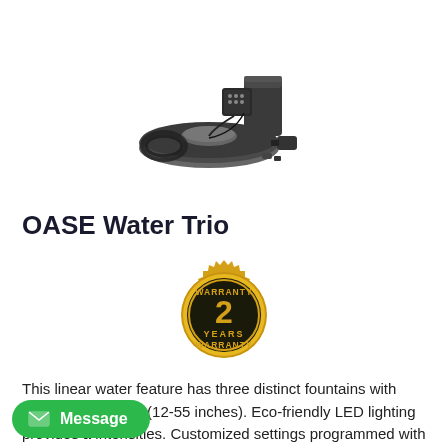[Figure (photo): OASE Water Trio product photo showing fountain pump system with flat circular base unit, cylindrical filter/pump component, coiled cable, and small accessories on white background]
OASE Water Trio
[Figure (illustration): Gold warranty badge seal with '2 YEARS WARRANTY' text, serrated gold edge, dark center with gold number 2 and 'YEARS' text, 'WARRANTY' text at top and bottom]
This linear water feature has three distinct fountains with varying jet heights (12-55 inches). Eco-friendly LED lighting provides a intensities. Customized settings programmed with a remote control promises convenience and ease of use. An energy-